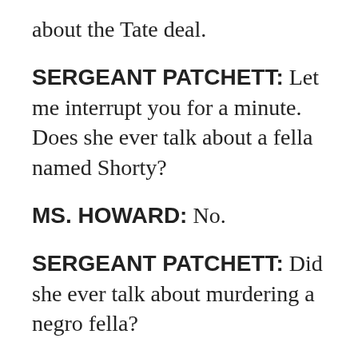about the Tate deal.
SERGEANT PATCHETT: Let me interrupt you for a minute. Does she ever talk about a fella named Shorty?
MS. HOWARD: No.
SERGEANT PATCHETT: Did she ever talk about murdering a negro fella?
MS. HOWARD: No. But she doesn't think too much of colored people. She